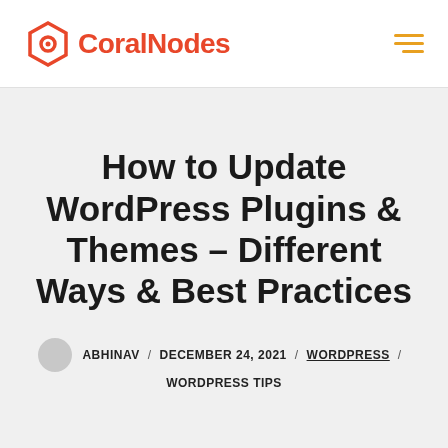CoralNodes
How to Update WordPress Plugins & Themes – Different Ways & Best Practices
ABHINAV / DECEMBER 24, 2021 / WORDPRESS / WORDPRESS TIPS